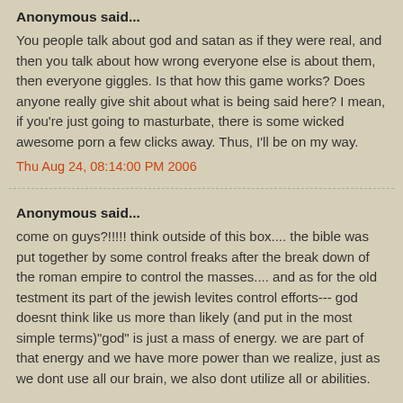Anonymous said...
You people talk about god and satan as if they were real, and then you talk about how wrong everyone else is about them, then everyone giggles. Is that how this game works? Does anyone really give shit about what is being said here? I mean, if you're just going to masturbate, there is some wicked awesome porn a few clicks away. Thus, I'll be on my way.
Thu Aug 24, 08:14:00 PM 2006
Anonymous said...
come on guys?!!!!! think outside of this box.... the bible was put together by some control freaks after the break down of the roman empire to control the masses.... and as for the old testment its part of the jewish levites control efforts--- god doesnt think like us more than likely (and put in the most simple terms)"god" is just a mass of energy. we are part of that energy and we have more power than we realize, just as we dont use all our brain, we also dont utilize all or abilities.